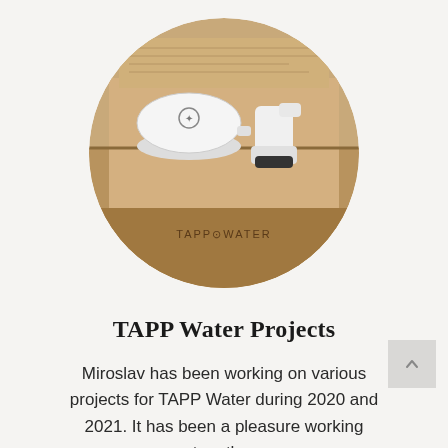[Figure (photo): Circular cropped photo of TAPP Water product components — a round white filter device and a white tap attachment — placed on a cardboard box with 'TAPP WATER' text, against a light background with printed instructions.]
TAPP Water Projects
Miroslav has been working on various projects for TAPP Water during 2020 and 2021. It has been a pleasure working together